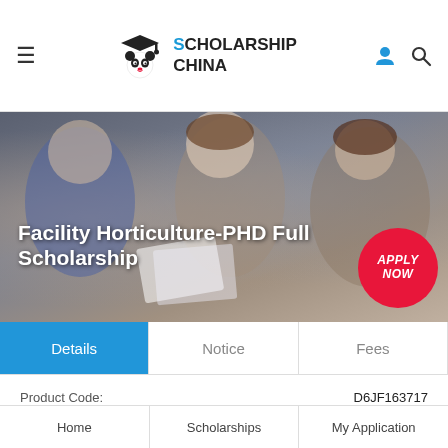Scholarship China
[Figure (photo): Three students studying together, smiling and looking at papers/books, with hero banner overlay text 'Facility Horticulture-PHD Full Scholarship' and a red 'APPLY NOW' badge]
Details | Notice | Fees
| Field | Value |
| --- | --- |
| Product Code: | D6JF163717 |
| Major: | Facility Horticulture-PHD |
| University: | Gansu Agricultural University |
| Degree: | PHD |
Home | Scholarships | My Application